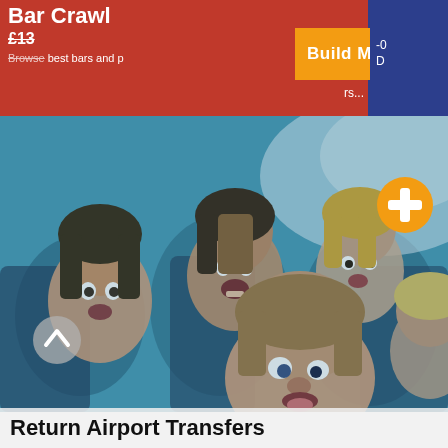Bar Crawl
£13
Browse best bars and p... rs...
Build My Hen Party >
[Figure (photo): Group of young women taking a selfie on a coach/minibus, laughing and making funny faces, teal-tinted photo]
Return Airport Transfers